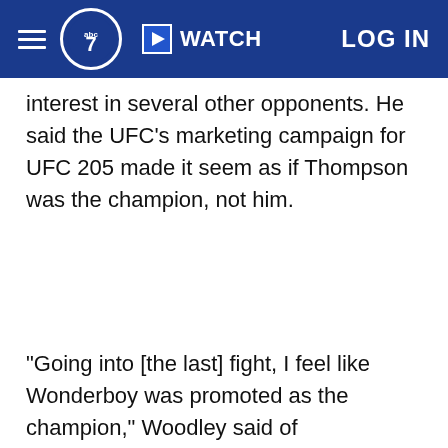abc7 | WATCH | LOG IN
interest in several other opponents. He said the UFC's marketing campaign for UFC 205 made it seem as if Thompson was the champion, not him.
"Going into [the last] fight, I feel like Wonderboy was promoted as the champion," Woodley said of